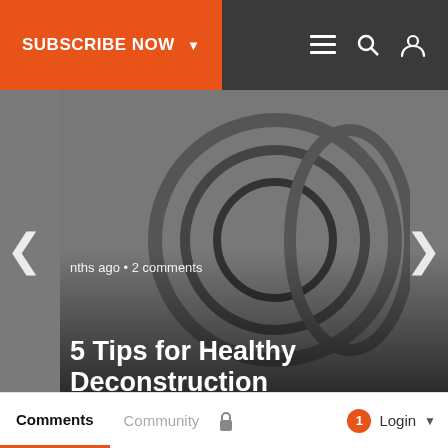SUBSCRIBE NOW | navigation icons
[Figure (screenshot): Carousel card 1: article thumbnail with circular graphic on gray background, metadata '...ths ago • 2 comments', title '5 Tips for Healthy Deconstruction']
[Figure (screenshot): Carousel card 2: article thumbnail with book cover (LOVE, A BIBLICAL THEOLOGY FOR HUMAN), metadata '5 months ago • 6 comm...', title 'Parting Words & Words of Witness']
What do you think?
1 Response
[Figure (infographic): Emoji reaction buttons: Upvote (thumbs up), Love (heart eyes), Surprised (open mouth), Angry (exhaling face), Sad (crying with tear)]
Comments | Community | [lock] | [1] Login